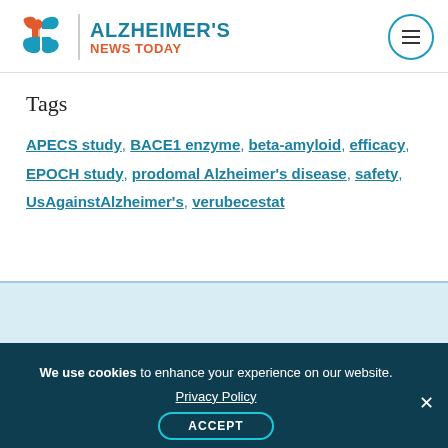Alzheimer's News Today
Tags
APECS study, BACE1 enzyme, beta-amyloid, efficacy, EPOCH study, prodomal Alzheimer's disease, safety, UsAgainstAlzheimer's, verubecestat
[Figure (other): Light blue advertisement area]
We use cookies to enhance your experience on our website. Privacy Policy ACCEPT